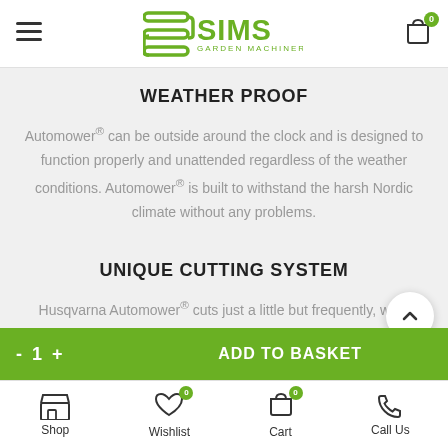SIMS Garden Machinery — navigation header with logo and cart
WEATHER PROOF
Automower® can be outside around the clock and is designed to function properly and unattended regardless of the weather conditions. Automower® is built to withstand the harsh Nordic climate without any problems.
UNIQUE CUTTING SYSTEM
Husqvarna Automower® cuts just a little but frequently, wh... assures a nice and healthy lawn. It is equipped with sharp razor-like
- 1 + ADD TO BASKET | Shop | Wishlist 0 | Cart 0 | Call Us